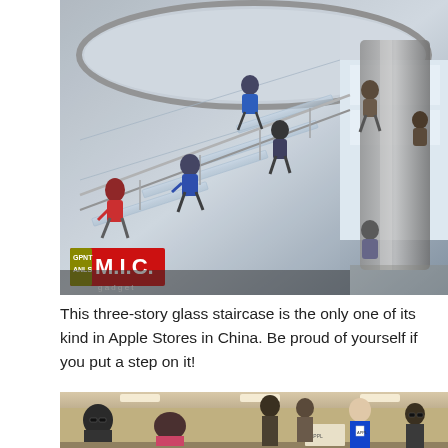[Figure (photo): Photo of a three-story glass staircase inside an Apple Store in China. People are visible on the glass stairs, with a MIC gadget watermark in the lower-left corner.]
This three-story glass staircase is the only one of its kind in Apple Stores in China. Be proud of yourself if you put a step on it!
[Figure (photo): Photo of the interior of an Apple Store in China, showing customers and staff in blue Apple Store uniforms.]